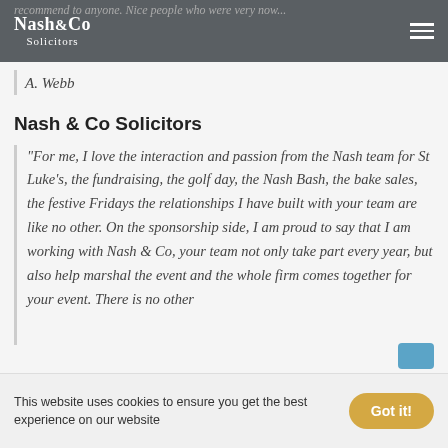Nash&Co Solicitors
recommend to anyone. Nice people who were very now...
A. Webb
Nash & Co Solicitors
“For me, I love the interaction and passion from the Nash team for St Luke’s, the fundraising, the golf day, the Nash Bash, the bake sales, the festive Fridays the relationships I have built with your team are like no other. On the sponsorship side, I am proud to say that I am working with Nash & Co, your team not only take part every year, but also help marshal the event and the whole firm comes together for your event. There is no other
This website uses cookies to ensure you get the best experience on our website